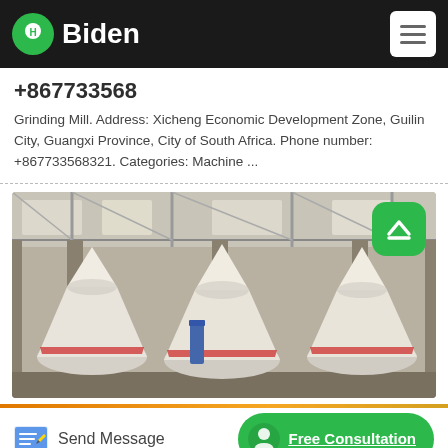Biden
+867733568
Grinding Mill. Address: Xicheng Economic Development Zone, Guilin City, Guangxi Province, City of South Africa. Phone number: +867733568321. Categories: Machine ...
[Figure (photo): Factory interior showing large white industrial grinding mill machines in a warehouse setting with concrete pillars and industrial ceiling structure.]
Send Message
Free Consultation